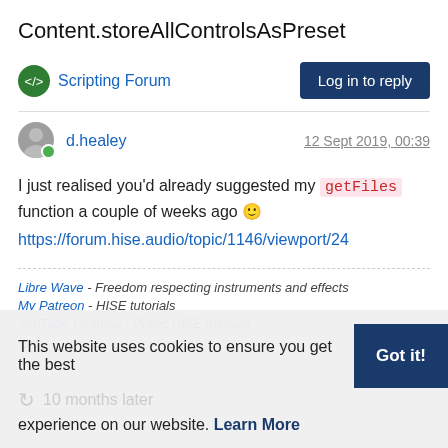Content.storeAllControlsAsPreset
Scripting Forum
Log in to reply
d.healey
12 Sept 2019, 00:39
I just realised you'd already suggested my getFiles function a couple of weeks ago 🙂
https://forum.hise.audio/topic/1146/viewport/24
Libre Wave - Freedom respecting instruments and effects
My Patreon - HISE tutorials
YouTube Channel - Public HISE tutorials
0
This website uses cookies to ensure you get the best experience on our website. Learn More
10 months later
Got it!